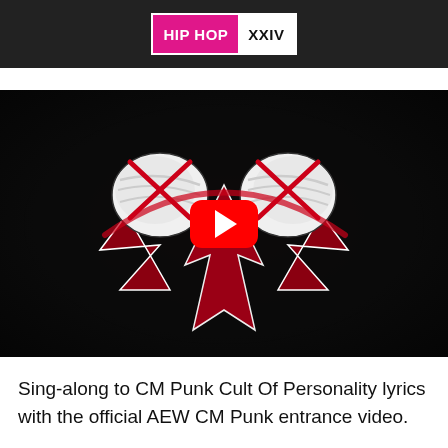HIP HOP XXIV
[Figure (screenshot): YouTube video thumbnail showing CM Punk AEW logo — crossed taped fists with red lightning bolt design on dark background, with a red YouTube play button in the center]
Sing-along to CM Punk Cult Of Personality lyrics with the official AEW CM Punk entrance video.